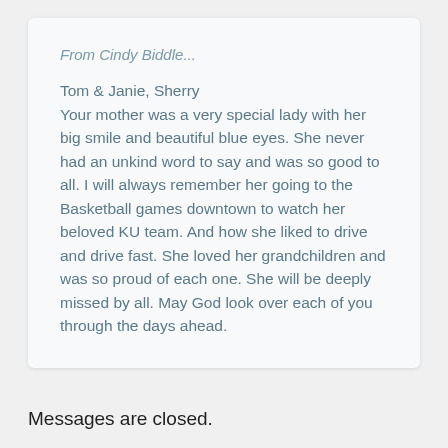From Cindy Biddle...
Tom & Janie, Sherry
Your mother was a very special lady with her big smile and beautiful blue eyes. She never had an unkind word to say and was so good to all. I will always remember her going to the Basketball games downtown to watch her beloved KU team. And how she liked to drive and drive fast. She loved her grandchildren and was so proud of each one. She will be deeply missed by all. May God look over each of you through the days ahead.
Messages are closed.